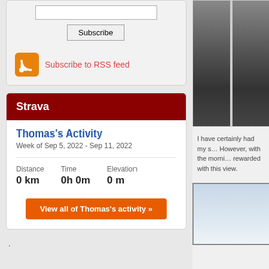[Figure (other): Subscribe email input box and Subscribe button]
[Figure (other): RSS feed icon with Subscribe to RSS feed link]
Strava
Thomas's Activity
Week of Sep 5, 2022 - Sep 11, 2022
| Distance | Time | Elevation |
| --- | --- | --- |
| 0 km | 0h 0m | 0 m |
View all of Thomas's activity »
.
[Figure (photo): Road/asphalt surface photo from overhead]
I have certainly had my s… However, with the morni… rewarded with this view.
[Figure (photo): Sky/landscape photo, light blue and grey tones]